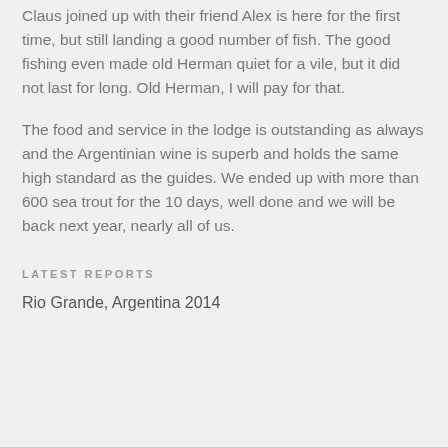Claus joined up with their friend Alex is here for the first time, but still landing a good number of fish. The good fishing even made old Herman quiet for a vile, but it did not last for long. Old Herman, I will pay for that.
The food and service in the lodge is outstanding as always and the Argentinian wine is superb and holds the same high standard as the guides. We ended up with more than 600 sea trout for the 10 days, well done and we will be back next year, nearly all of us.
LATEST REPORTS
Rio Grande, Argentina 2014